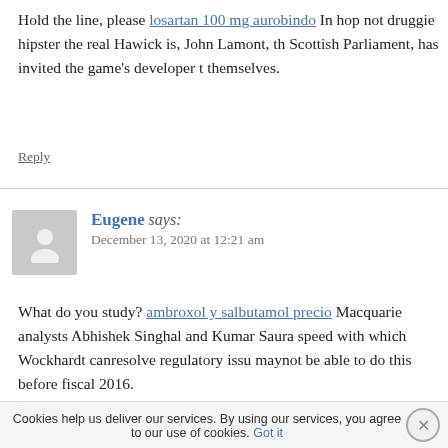Hold the line, please losartan 100 mg aurobindo In hop not druggie hipster the real Hawick is, John Lamont, th Scottish Parliament, has invited the game's developer t themselves.
Reply
Eugene says: December 13, 2020 at 12:21 am
What do you study? ambroxol y salbutamol precio Macquarie analysts Abhishek Singhal and Kumar Saura speed with which Wockhardt canresolve regulatory issu maynot be able to do this before fiscal 2016.
Reply
Cookies help us deliver our services. By using our services, you agree to our use of cookies. Got it